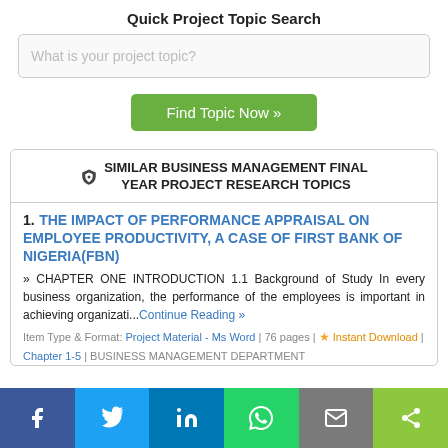Quick Project Topic Search
What is your project topic?
Find Topic Now »
SIMILAR BUSINESS MANAGEMENT FINAL YEAR PROJECT RESEARCH TOPICS
1. THE IMPACT OF PERFORMANCE APPRAISAL ON EMPLOYEE PRODUCTIVITY, A CASE OF FIRST BANK OF NIGERIA(FBN)
» CHAPTER ONE INTRODUCTION 1.1 Background of Study In every business organization, the performance of the employees is important in achieving organizati...Continue Reading »
Item Type & Format: Project Material - Ms Word | 76 pages | ★ Instant Download | Chapter 1-5 | BUSINESS MANAGEMENT DEPARTMENT
f  Twitter  in  WhatsApp  Email  Share